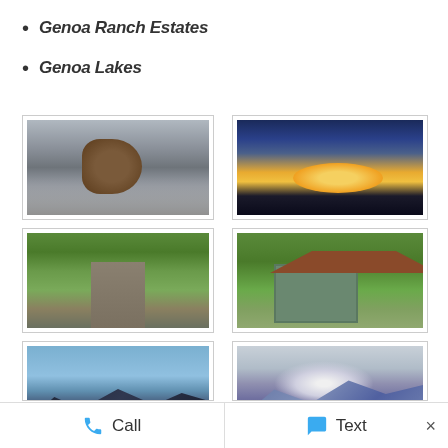Genoa Ranch Estates
Genoa Lakes
[Figure (photo): A deer crossing a road with a car in the background]
[Figure (photo): A dramatic sunset with sunrays breaking through clouds over mountains]
[Figure (photo): An entrance with an American flag and trees in autumn colors]
[Figure (photo): A historic house with a red roof surrounded by green trees]
[Figure (photo): Mountain landscape with dark silhouettes at dusk]
[Figure (photo): Purple mountain landscape with misty lighting]
Call   Text   ×